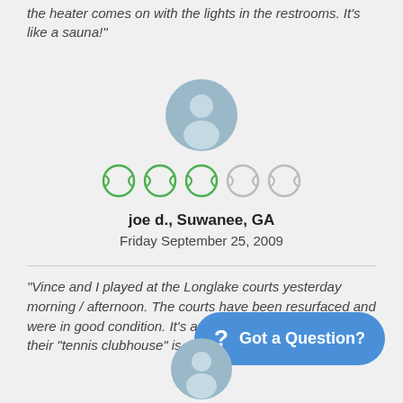the heater comes on with the lights in the restrooms. It's like a sauna!"
[Figure (illustration): User avatar circle icon with person silhouette in muted blue-gray]
[Figure (other): 5 tennis ball icons used as rating, first 3 green (filled), last 2 gray (empty)]
joe d., Suwanee, GA
Friday September 25, 2009
"Vince and I played at the Longlake courts yesterday morning / afternoon. The courts have been resurfaced and were in good condition. It's another Pulte subdivision and their "tennis clubhouse" is exactly like ours."
[Figure (illustration): Second user avatar circle icon partially visible at bottom]
Got a Question?